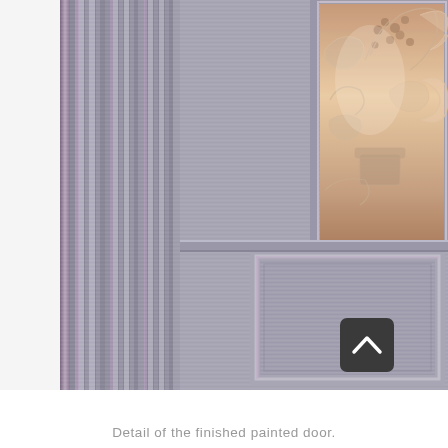[Figure (photo): Close-up detail of a finished painted door. The door features vertical fluted/reeded molding panels painted in a dark grey-blue with subtle lavender/purple highlights on the edges. In the upper right portion, a decorative frosted or etched glass panel with floral and grape vine motifs in a warm copper/bronze tone is visible. A dark grey rounded square back-to-top navigation button with an upward chevron is overlaid in the lower right corner of the image.]
Detail of the finished painted door.